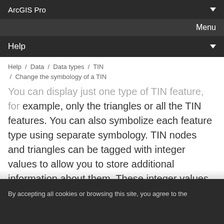ArcGIS Pro
Menu
Help
Help / Data / Data types / TIN / Change the symbology of a TIN
You can display just one type of TIN feature, for example, only the triangles or all the TIN features. You can also symbolize each feature type using separate symbology. TIN nodes and triangles can be tagged with integer values to allow you to store additional information about them. These integer values can be used as lookup codes, for example, to indicate the accuracy of the input feature data source or the land-use type code for areas on the
By accepting all cookies or browsing this site, you agree to the